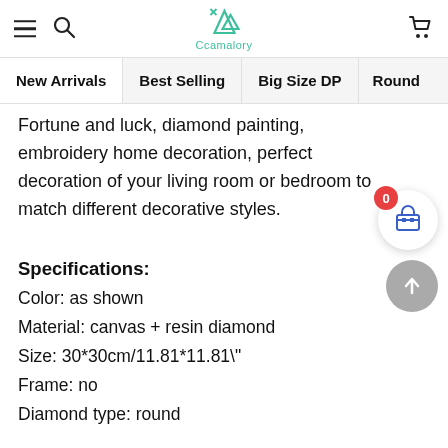Ccamalory navigation bar with hamburger menu, search, logo, and cart
New Arrivals | Best Selling | Big Size DP | Round
Fortune and luck, diamond painting, embroidery home decoration, perfect decoration of your living room or bedroom to match different decorative styles.
Specifications:
Color: as shown
Material: canvas + resin diamond
Size: 30*30cm/11.81*11.81"
Frame: no
Diamond type: round
Space: living room/bedroom/classroom/entrance
DIY Diamond painting production steps: